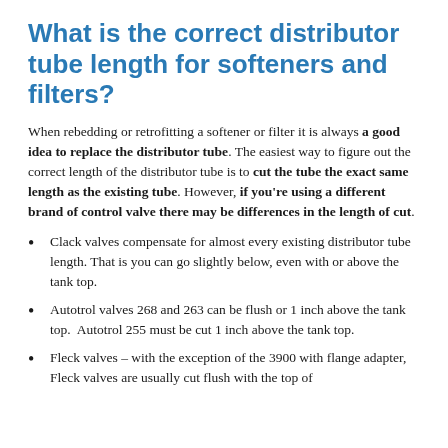What is the correct distributor tube length for softeners and filters?
When rebedding or retrofitting a softener or filter it is always a good idea to replace the distributor tube. The easiest way to figure out the correct length of the distributor tube is to cut the tube the exact same length as the existing tube. However, if you're using a different brand of control valve there may be differences in the length of cut.
Clack valves compensate for almost every existing distributor tube length. That is you can go slightly below, even with or above the tank top.
Autotrol valves 268 and 263 can be flush or 1 inch above the tank top. Autotrol 255 must be cut 1 inch above the tank top.
Fleck valves – with the exception of the 3900 with flange adapter, Fleck valves are usually cut flush with the top of